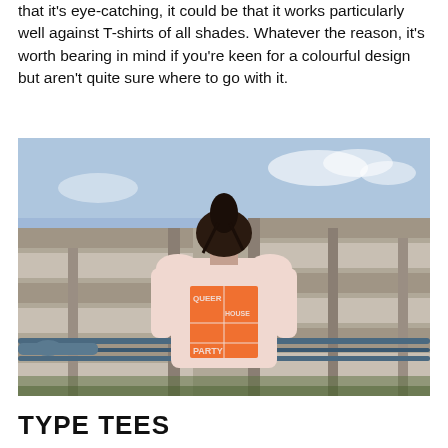that it's eye-catching, it could be that it works particularly well against T-shirts of all shades. Whatever the reason, it's worth bearing in mind if you're keen for a colourful design but aren't quite sure where to go with it.
[Figure (photo): Person standing with their back to the camera wearing a pink T-shirt with an orange 'QUEER HOUSE PARTY' graphic print, in front of a brutalist concrete apartment building with a blue sky background.]
TYPE TEES